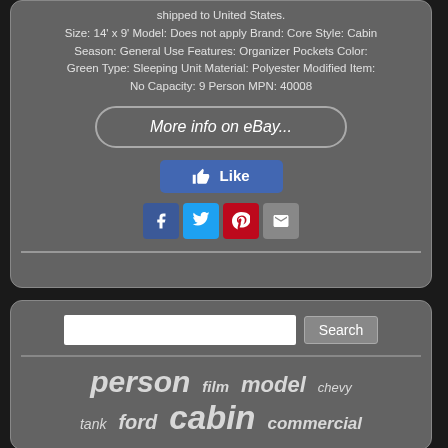shipped to United States. Size: 14' x 9' Model: Does not apply Brand: Core Style: Cabin Season: General Use Features: Organizer Pockets Color: Green Type: Sleeping Unit Material: Polyester Modified Item: No Capacity: 9 Person MPN: 40008
More info on eBay...
[Figure (screenshot): Facebook Like button (blue)]
[Figure (screenshot): Social share icons: Facebook, Twitter, Pinterest, Email]
[Figure (screenshot): Search bar with Search button]
person film model chevy tank ford cabin commercial aluminum core floor wrench